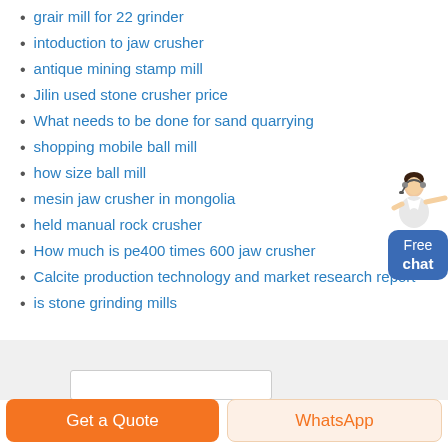grair mill for 22 grinder
intoduction to jaw crusher
antique mining stamp mill
Jilin used stone crusher price
What needs to be done for sand quarrying
shopping mobile ball mill
how size ball mill
mesin jaw crusher in mongolia
held manual rock crusher
How much is pe400 times 600 jaw crusher
Calcite production technology and market research report
is stone grinding mills
[Figure (illustration): A customer service representative woman with headset pointing, next to a blue rounded-rectangle button saying 'Free chat']
Get a Quote
WhatsApp